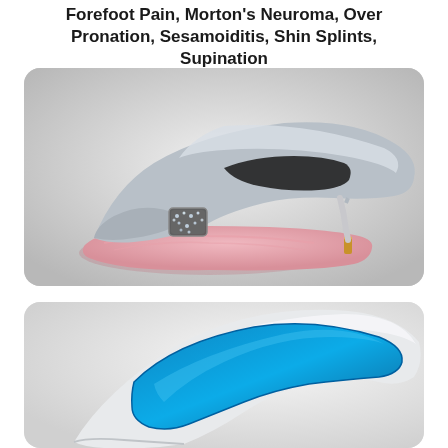Forefoot Pain, Morton's Neuroma, Over Pronation, Sesamoiditis, Shin Splints, Supination
[Figure (photo): A gray high-heel stiletto shoe with a decorative crystal/rhinestone buckle on the toe, placed on a pink orthotic insole/insole pad. The shoe is photographed against a light gray background.]
[Figure (photo): Close-up of the inside of a white high-heel shoe showing a blue orthotic insole/insert placed inside the shoe. The shoe toe area points upward and to the right against a white background.]